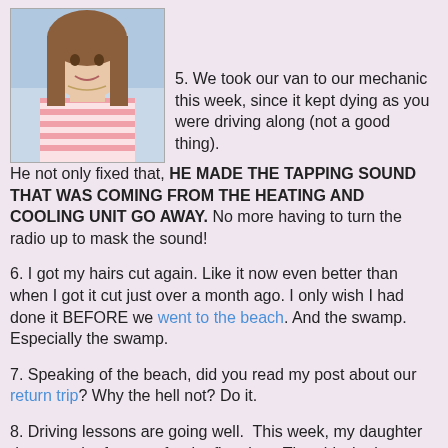[Figure (photo): Portrait photo of a young woman with long brown hair wearing a pink and white striped tank top, shoulders visible, outdoors background]
5. We took our van to our mechanic this week, since it kept dying as you were driving along (not a good thing). He not only fixed that, HE MADE THE TAPPING SOUND THAT WAS COMING FROM THE HEATING AND COOLING UNIT GO AWAY. No more having to turn the radio up to mask the sound!
6. I got my hairs cut again. Like it now even better than when I got it cut just over a month ago. I only wish I had done it BEFORE we went to the beach. And the swamp. Especially the swamp.
7. Speaking of the beach, did you read my post about our return trip? Why the hell not? Do it.
8. Driving lessons are going well.  This week, my daughter drove on the freeway for the first time. The girl who keeps saying, "I have a need for speed" found out that going 70 mph is a little daunting.